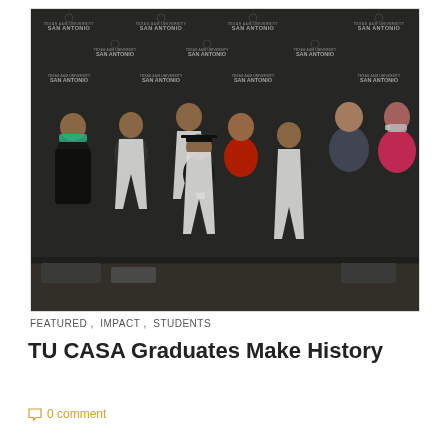[Figure (photo): Group photo of TU CASA graduates and staff at Texas A&M University San Antonio, in front of a step-and-repeat banner. Several graduates wear white graduation stoles. Some people wear face masks.]
FEATURED , IMPACT , STUDENTS
TU CASA Graduates Make History
0 comment